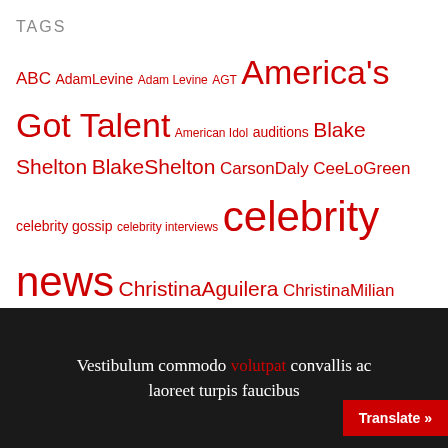TAGS
ABC AdamLevine Adam Levine AGT America's Got Talent American Idol auditions Blake Shelton BlakeShelton CarsonDaly CeeLoGreen celebrity gossip celebrity interviews celebrity news ChristinaAguilera ChristinaMilian exclusive film FOX game show news GSN Howie Mandel Movie news movie reviews Movies 2011 Movies 2012 NBC nbcagt nbcthevoice news Paramount Pictures preview previews RealityCompetition realitytelevision Season3 Syfy Television2012 The Voice TheVoice TV 2010 TV 2011 TV 2012 TV news TV reviews
Vestibulum commodo volutpat convallis ac laoreet turpis faucibus